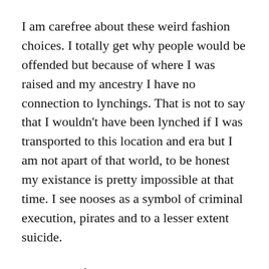I am carefree about these weird fashion choices. I totally get why people would be offended but because of where I was raised and my ancestry I have no connection to lynchings. That is not to say that I wouldn't have been lynched if I was transported to this location and era but I am not apart of that world, to be honest my existance is pretty impossible at that time. I see nooses as a symbol of criminal execution, pirates and to a lesser extent suicide.
Honesty at first glance I thought it was badass but reading about how you feel about it, I am now quite turned off by it. I am going to guess it...